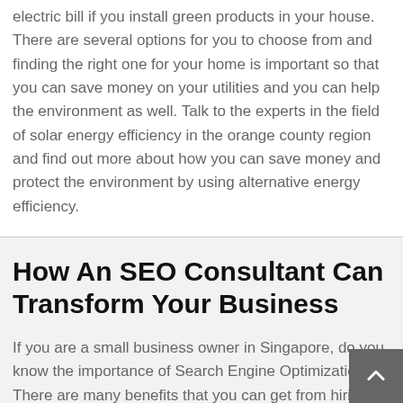electric bill if you install green products in your house. There are several options for you to choose from and finding the right one for your home is important so that you can save money on your utilities and you can help the environment as well. Talk to the experts in the field of solar energy efficiency in the orange county region and find out more about how you can save money and protect the environment by using alternative energy efficiency.
How An SEO Consultant Can Transform Your Business
If you are a small business owner in Singapore, do you know the importance of Search Engine Optimization? There are many benefits that you can get from hiring a professional SEO company to your business in Singapore and make you known among your market.